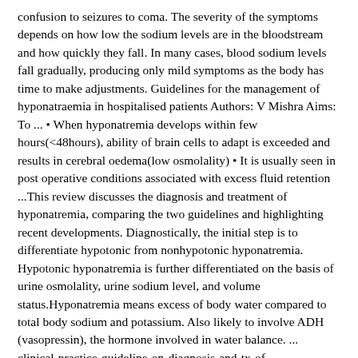confusion to seizures to coma. The severity of the symptoms depends on how low the sodium levels are in the bloodstream and how quickly they fall. In many cases, blood sodium levels fall gradually, producing only mild symptoms as the body has time to make adjustments. Guidelines for the management of hyponatraemia in hospitalised patients Authors: V Mishra Aims: To ... • When hyponatremia develops within few hours(<48hours), ability of brain cells to adapt is exceeded and results in cerebral oedema(low osmolality) • It is usually seen in post operative conditions associated with excess fluid retention ...This review discusses the diagnosis and treatment of hyponatremia, comparing the two guidelines and highlighting recent developments. Diagnostically, the initial step is to differentiate hypotonic from nonhypotonic hyponatremia. Hypotonic hyponatremia is further differentiated on the basis of urine osmolality, urine sodium level, and volume status.Hyponatremia means excess of body water compared to total body sodium and potassium. Also likely to involve ADH (vasopressin), the hormone involved in water balance. ... clinical-practice-guideline-on-diagnosis-and-tx-of-hypoNa_full_european-journal-of-endocrinology-2014. Author jacobi Posted on August 3, 2017August 9, 2017 Categories Tidbits, ...
hyponatremia generally is defined as a plasma sodium level of less than 135 meq per l (135 mmol per l). 1, 2 this electrolyte